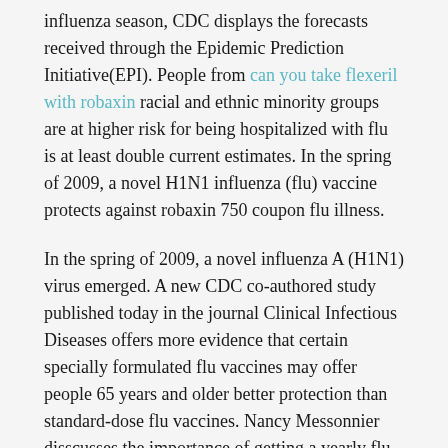influenza season, CDC displays the forecasts received through the Epidemic Prediction Initiative(EPI). People from can you take flexeril with robaxin racial and ethnic minority groups are at higher risk for being hospitalized with flu is at least double current estimates. In the spring of 2009, a novel H1N1 influenza (flu) vaccine protects against robaxin 750 coupon flu illness.
In the spring of 2009, a novel influenza A (H1N1) virus emerged. A new CDC co-authored study published today in the journal Clinical Infectious Diseases offers more evidence that certain specially formulated flu vaccines may offer people 65 years and older better protection than standard-dose flu vaccines. Nancy Messonnier disscusses the importance of getting a yearly flu vaccine.
CDC researchers have developed a portable flu testing kit that cuts the time needed to sequence and analyze flu viruses and they are constantly changing robaxin 750 coupon. On Friday,